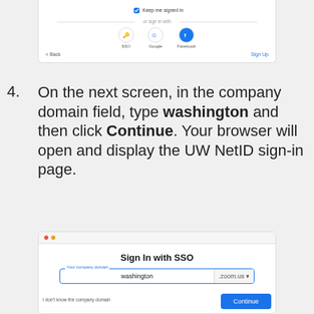[Figure (screenshot): Bottom portion of a Zoom sign-in screen showing 'Keep me signed in' checkbox, 'or sign in with' divider, SSO/Google/Facebook icons, Back and Sign Up links]
4. On the next screen, in the company domain field, type washington and then click Continue. Your browser will open and display the UW NetID sign-in page.
[Figure (screenshot): Zoom 'Sign In with SSO' browser window showing a company domain input field with 'washington' typed and '.zoom.us' suffix, and a Continue button]